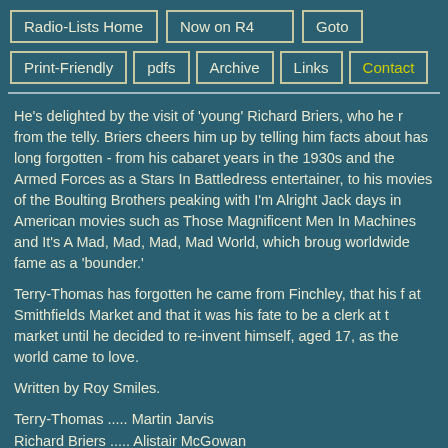Radio-Lists Home | Now on R4 | Goto | Print-Friendly | pdfs | Archive | Links | Contact
He's delighted by the visit of 'young' Richard Briers, who he r... from the telly. Briers cheers him up by telling him facts about ... has long forgotten - from his cabaret years in the 1930s and ... the Armed Forces as a Stars In Battledress entertainer, to his movies of the Boulting Brothers peaking with I'm Alright Jack ... days in American movies such as Those Magnificent Men In ... Machines and It's A Mad, Mad, Mad, Mad World, which broug... worldwide fame as a 'bounder.'
Terry-Thomas has forgotten he came from Finchley, that his f... at Smithfields Market and that it was his fate to be a clerk at t... market until he decided to re-invent himself, aged 17, as the ... world came to love.
Written by Roy Smiles.
Terry-Thomas ..... Martin Jarvis
Richard Briers ..... Alistair McGowan